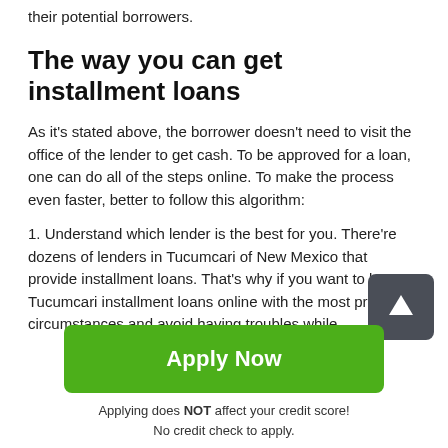their potential borrowers.
The way you can get installment loans
As it's stated above, the borrower doesn't need to visit the office of the lender to get cash. To be approved for a loan, one can do all of the steps online. To make the process even faster, better to follow this algorithm:
1. Understand which lender is the best for you. There're dozens of lenders in Tucumcari of New Mexico that provide installment loans. That's why if you want to borrow Tucumcari installment loans online with the most profitable circumstances and avoid having troubles while
[Figure (other): Dark grey square button with white upward arrow icon (scroll to top button)]
Apply Now
Applying does NOT affect your credit score!
No credit check to apply.